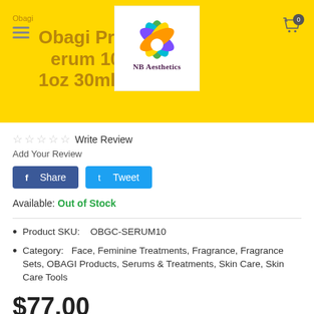Obagi
Obagi Professional-C Serum 10% 1oz 30ml
☆ ☆ ☆ ☆ ☆ Write Review
Add Your Review
f Share   t Tweet
Available: Out of Stock
Product SKU:    OBGC-SERUM10
Category:    Face, Feminine Treatments, Fragrance, Fragrance Sets, OBAGI Products, Serums & Treatments, Skin Care, Skin Care Tools
$77.00